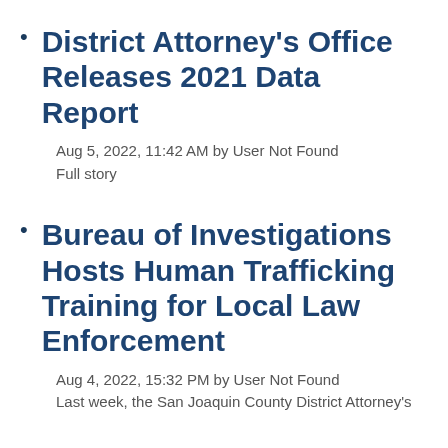District Attorney's Office Releases 2021 Data Report
Aug 5, 2022, 11:42 AM by User Not Found
Full story
Bureau of Investigations Hosts Human Trafficking Training for Local Law Enforcement
Aug 4, 2022, 15:32 PM by User Not Found
Last week, the San Joaquin County District Attorney's